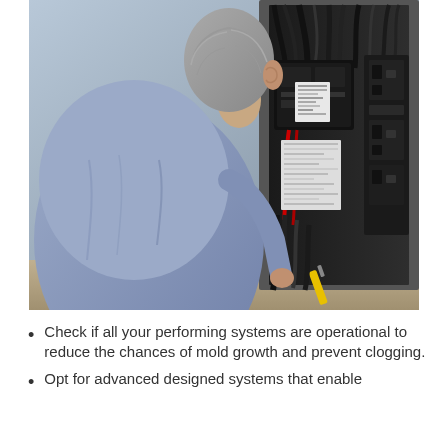[Figure (photo): A man in a light blue shirt viewed from behind, inspecting an electrical panel or circuit breaker box with visible wiring and components.]
Check if all your performing systems are operational to reduce the chances of mold growth and prevent clogging.
Opt for advanced designed systems that enable